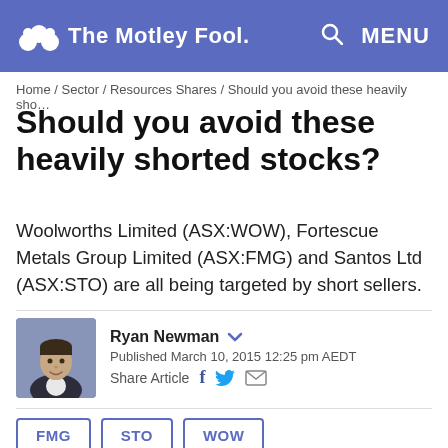The Motley Fool — MENU
Home / Sector / Resources Shares / Should you avoid these heavily sho…
Should you avoid these heavily shorted stocks?
Woolworths Limited (ASX:WOW), Fortescue Metals Group Limited (ASX:FMG) and Santos Ltd (ASX:STO) are all being targeted by short sellers.
[Figure (photo): Headshot photo of author Ryan Newman]
Ryan Newman
Published March 10, 2015 12:25 pm AEDT
Share Article
FMG   STO   WOW